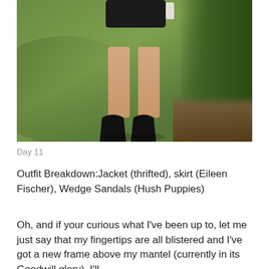[Figure (photo): Outdoor photo showing a person from the waist down wearing a dark skirt, standing on grass with black wedge sandals. Green bushes visible on the right side, mulch border at far right.]
Day 11
Outfit Breakdown:Jacket (thrifted), skirt (Eileen Fischer), Wedge Sandals (Hush Puppies)
Oh, and if your curious what I’ve been up to, let me just say that my fingertips are all blistered and I’ve got a new frame above my mantel (currently in its Goodwill glory). I’ll